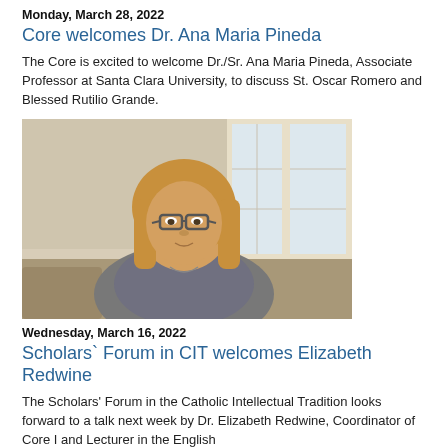Monday, March 28, 2022
Core welcomes Dr. Ana Maria Pineda
The Core is excited to welcome Dr./Sr. Ana Maria Pineda, Associate Professor at Santa Clara University, to discuss St. Oscar Romero and Blessed Rutilio Grande.
[Figure (photo): Photo of a woman with shoulder-length blonde hair wearing glasses, seated indoors near a window with blinds.]
Wednesday, March 16, 2022
Scholars` Forum in CIT welcomes Elizabeth Redwine
The Scholars' Forum in the Catholic Intellectual Tradition looks forward to a talk next week by Dr. Elizabeth Redwine, Coordinator of Core I and Lecturer in the English